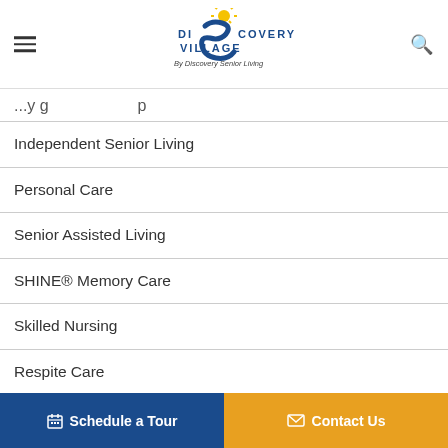[Figure (logo): Discovery Village by Discovery Senior Living logo with blue swoosh and yellow sun]
...y g... p (cropped navigation header text)
Independent Senior Living
Personal Care
Senior Assisted Living
SHINE® Memory Care
Skilled Nursing
Respite Care
Schedule a Tour    Contact Us